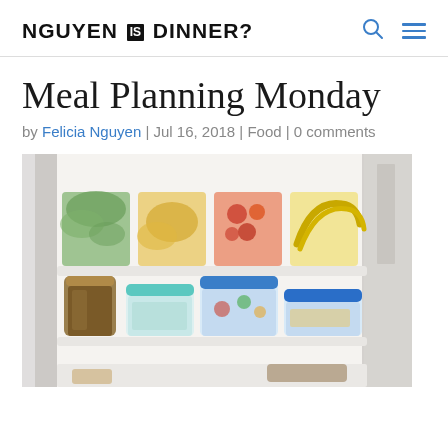NGUYEN IS DINNER?
Meal Planning Monday
by Felicia Nguyen | Jul 16, 2018 | Food | 0 comments
[Figure (photo): Open refrigerator with organized meal prep containers on two shelves: top shelf has clear containers with green vegetables, mango, tomatoes, and bananas; middle shelf has glass jar with brown liquid and clear/blue lidded containers with various foods.]